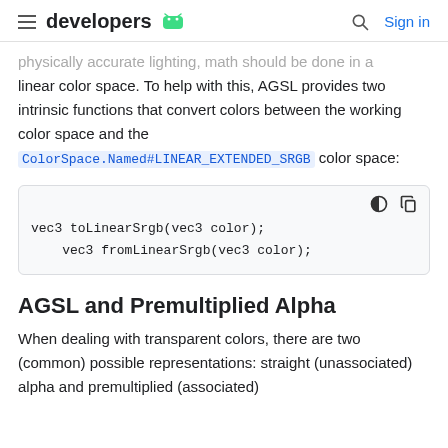developers
physically accurate lighting, math should be done in a linear color space. To help with this, AGSL provides two intrinsic functions that convert colors between the working color space and the ColorSpace.Named#LINEAR_EXTENDED_SRGB color space:
[Figure (screenshot): Code block showing: vec3 toLinearSrgb(vec3 color); vec3 fromLinearSrgb(vec3 color);]
AGSL and Premultiplied Alpha
When dealing with transparent colors, there are two (common) possible representations: straight (unassociated) alpha and premultiplied (associated)